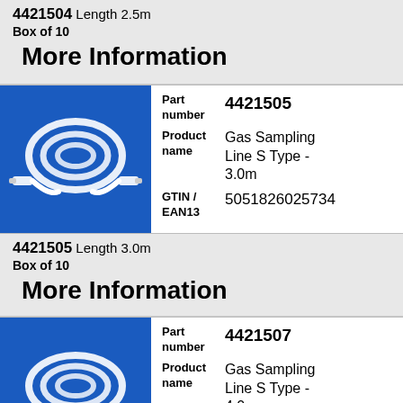4421504 Length 2.5m
Box of 10
More Information
[Figure (photo): Gas Sampling Line S Type coiled white tubing on blue background]
| Field | Value |
| --- | --- |
| Part number | 4421505 |
| Product name | Gas Sampling Line S Type - 3.0m |
| GTIN / EAN13 | 5051826025734 |
4421505 Length 3.0m
Box of 10
More Information
[Figure (photo): Gas Sampling Line S Type coiled white tubing on blue background]
| Field | Value |
| --- | --- |
| Part number | 4421507 |
| Product name | Gas Sampling Line S Type - 4.0m |
| GTIN / EAN13 | 5051826025741 |